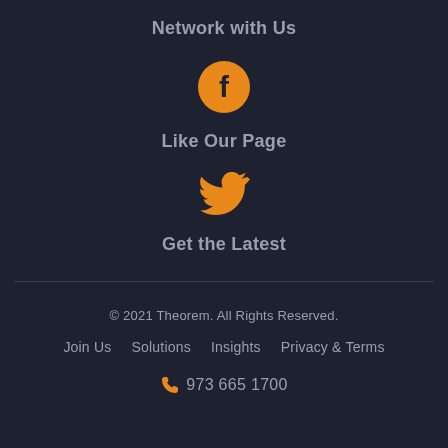Network with Us
[Figure (logo): Orange Facebook icon - circle with white 'f' letter]
Like Our Page
[Figure (logo): Orange Twitter bird icon]
Get the Latest
© 2021 Theorem. All Rights Reserved.
Join Us   Solutions   Insights   Privacy & Terms
973 665 1700